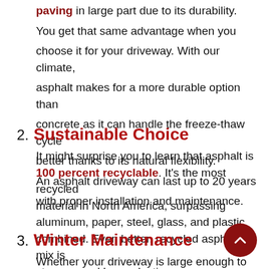paving in large part due to its durability. You get that same advantage when you choose it for your driveway. With our climate, asphalt makes for a more durable option than concrete as it can handle the freeze-thaw cycle better thanks to its natural flexibility. An asphalt driveway can last up to 20 years with proper installation and maintenance.
2. Sustainable Choice
It might surprise you to learn that asphalt is 100 percent recyclable. It's the most recycled material in North America, surpassing aluminum, paper, steel, glass, and plastic combined. Even better, recycled asphalt mix is stronger and longer lasting.
3. Winter Maintenance
Whether your driveway is large enough to